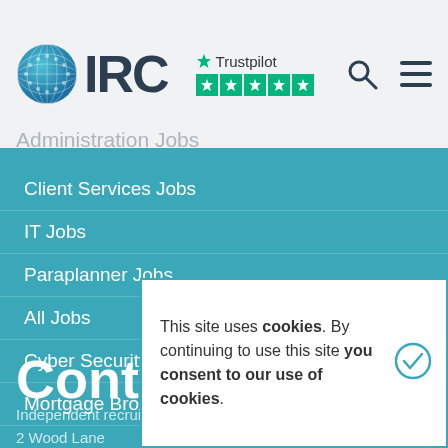[Figure (logo): IRC logo with globe icon and Trustpilot 5-star rating]
Administration Jobs
Client Services Jobs
IT Jobs
Paraplanner Jobs
All Jobs
Cyber Security jobs
Mortgage Broker Jobs
Contact Us
Independent recruitment consultancy jobs
2 Wood Lane
This site uses cookies. By continuing to use this site you consent to our use of cookies.